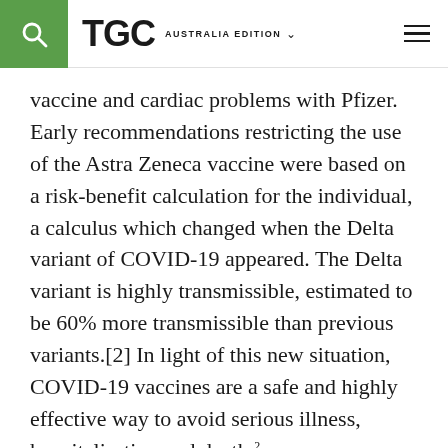TGC AUSTRALIA EDITION
vaccine and cardiac problems with Pfizer. Early recommendations restricting the use of the Astra Zeneca vaccine were based on a risk-benefit calculation for the individual, a calculus which changed when the Delta variant of COVID-19 appeared. The Delta variant is highly transmissible, estimated to be 60% more transmissible than previous variants.[2] In light of this new situation, COVID-19 vaccines are a safe and highly effective way to avoid serious illness, hospitalisation and death.2
The revision highlights one of the problems in